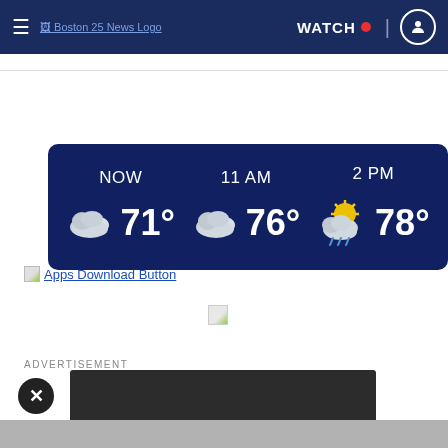Boston 25 News — WATCH [live] [user icon]
[Figure (infographic): Weather widget showing three time slots: NOW 71°, 11 AM 76°, 2 PM 78° with cloud and sun/rain icons on dark navy background]
Apps Download Button
[Figure (other): Broken/loading image placeholder in center]
ADVERTISEMENT
[Figure (other): Dark advertisement block with close X button]